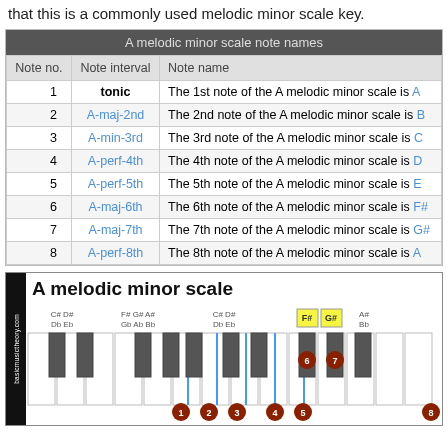that this is a commonly used melodic minor scale key.
| Note no. | Note interval | Note name |
| --- | --- | --- |
| 1 | tonic | The 1st note of the A melodic minor scale is A |
| 2 | A-maj-2nd | The 2nd note of the A melodic minor scale is B |
| 3 | A-min-3rd | The 3rd note of the A melodic minor scale is C |
| 4 | A-perf-4th | The 4th note of the A melodic minor scale is D |
| 5 | A-perf-5th | The 5th note of the A melodic minor scale is E |
| 6 | A-maj-6th | The 6th note of the A melodic minor scale is F# |
| 7 | A-maj-7th | The 7th note of the A melodic minor scale is G# |
| 8 | A-perf-8th | The 8th note of the A melodic minor scale is A |
[Figure (illustration): Piano keyboard diagram showing A melodic minor scale with notes labeled 1-8 on keys. F# and G# highlighted in yellow boxes. Notes 6 and 7 shown on black keys with orange circles. Title: A melodic minor scale. Black key labels shown above including C#/Db, D#/Eb, F#/Gb, G#/Ab, A#/Bb groups.]